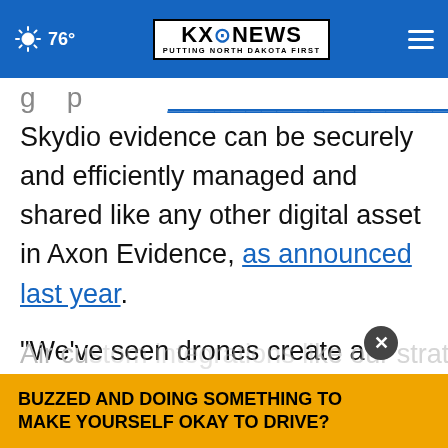76° | KXONEWS PUTTING NORTH DAKOTA FIRST
Skydio evidence can be securely and efficiently managed and shared like any other digital asset in Axon Evidence, as announced last year.
"We've seen drones create a significant, positive impact for our public safety customers, helping keep first responders and the communities they serve safer," says Skydio CEO, Adam Bry. "Our integrations with Axon Evidence, Respond and Air cu[...] egic partn[...]
[Figure (other): Advertisement overlay: yellow banner reading 'BUZZED AND DOING SOMETHING TO MAKE YOURSELF OKAY TO DRIVE?' with a close (X) button]